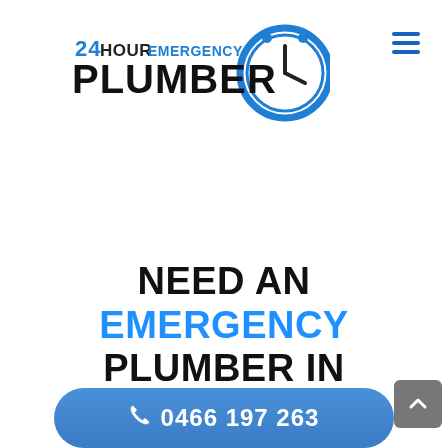[Figure (logo): 24 Hour Emergency Plumber logo with clock icon — '24HOUR EMERGENCY' in blue/black text and 'PLUMBER' in large black bold text with a blue clock graphic to the right]
[Figure (other): Hamburger menu icon — three horizontal blue lines stacked]
NEED AN EMERGENCY PLUMBER IN BIRTINYA FAST?
0466 197 263